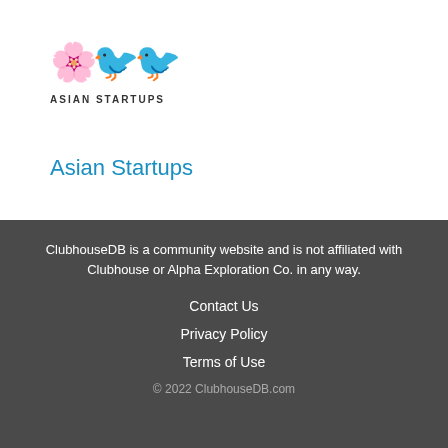[Figure (logo): Asian Startups logo with flower and bird emoji icons above the text 'ASIAN STARTUPS']
Asian Startups
ClubhouseDB is a community website and is not affiliated with Clubhouse or Alpha Exploration Co. in any way.
Contact Us
Privacy Policy
Terms of Use
© 2022 ClubhouseDB.com